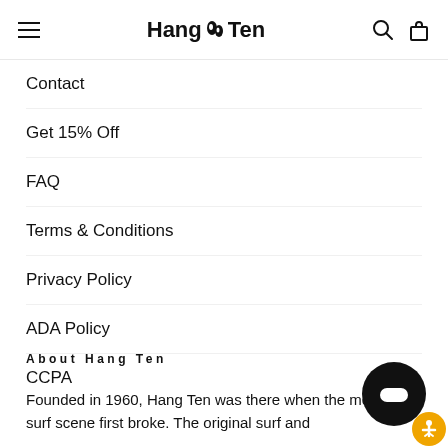Hang Ten navigation header with hamburger menu, logo, search and bag icons
Contact
Get 15% Off
FAQ
Terms & Conditions
Privacy Policy
ADA Policy
CCPA
About Hang Ten
Founded in 1960, Hang Ten was there when the modern surf scene first broke. The original surf and